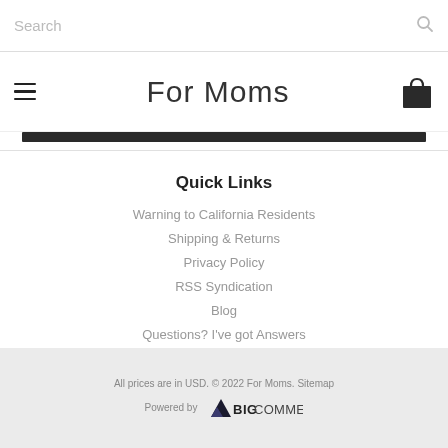Search
For Moms
Quick Links
Warning to California Residents
Shipping & Returns
Privacy Policy
RSS Syndication
Blog
Questions? I've got Answers
All prices are in USD. © 2022 For Moms. Sitemap
Powered by BIGCOMMERCE